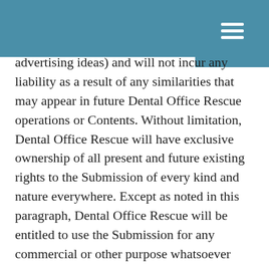menu/hamburger icon header bar
advertising ideas) and will not incur any liability as a result of any similarities that may appear in future Dental Office Rescue operations or Contents. Without limitation, Dental Office Rescue will have exclusive ownership of all present and future existing rights to the Submission of every kind and nature everywhere. Except as noted in this paragraph, Dental Office Rescue will be entitled to use the Submission for any commercial or other purpose whatsoever without compensation to you or any other person sending the Submission. You agree to indemnify, defend and hold Dental Office Rescue harmless for any liability arising due to the use or distribution of those materials. You further grant Dental Office Rescue the right to use your name in connection with the reproduction, distribution of and